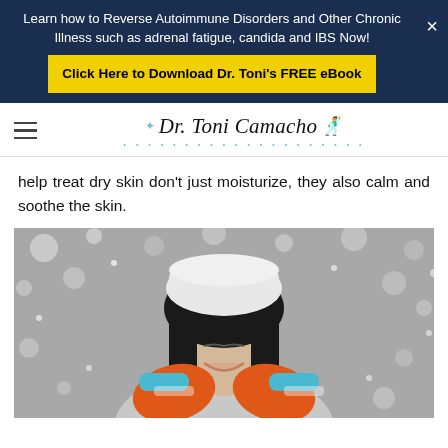Learn how to Reverse Autoimmune Disorders and Other Chronic Illness such as adrenal fatigue, candida and IBS Now!
Click Here to Download Dr. Toni's FREE eBook
[Figure (logo): Dr. Toni Camacho logo with decorative script text, sparkle icons, dotted underline, and silhouette figure]
help treat dry skin don't just moisturize, they also calm and soothe the skin.
[Figure (photo): Woman with dark hair wearing white winter hat and colorful orange and blue mittens, smiling with eyes closed, surrounded by snow bokeh background in black and white]